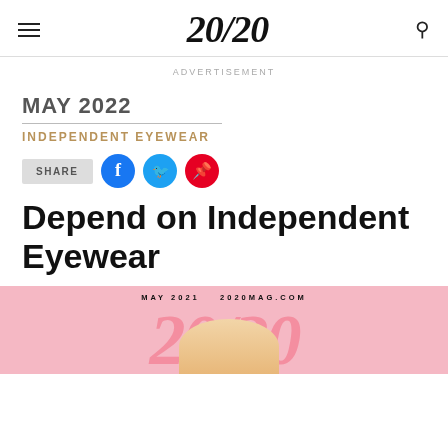20/20
ADVERTISEMENT
MAY 2022
INDEPENDENT EYEWEAR
SHARE
Depend on Independent Eyewear
[Figure (photo): 20/20 magazine May 2021 cover with pink background and large 20/20 logo, partial view of a blonde person]